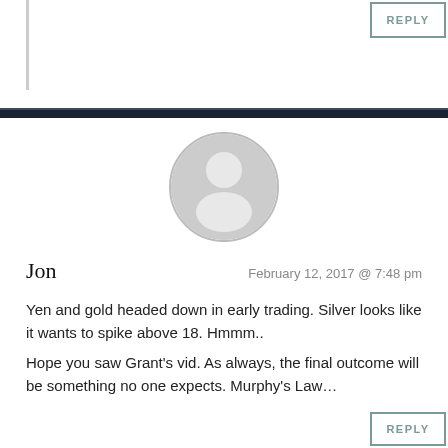[Figure (illustration): Generic user avatar icon — circular grey silhouette of a person]
Jon
February 12, 2017 @ 7:48 pm
Yen and gold headed down in early trading. Silver looks like it wants to spike above 18. Hmmm..
Hope you saw Grant's vid. As always, the final outcome will be something no one expects. Murphy's Law…